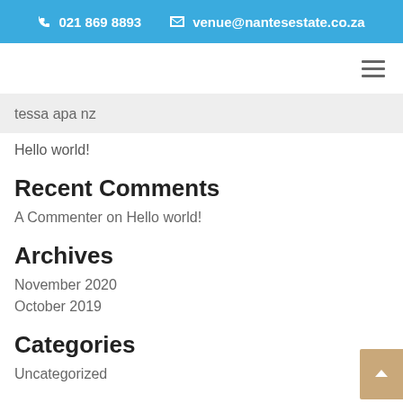021 869 8893   venue@nantesestate.co.za
tessa apa nz
Hello world!
Recent Comments
A Commenter on Hello world!
Archives
November 2020
October 2019
Categories
Uncategorized